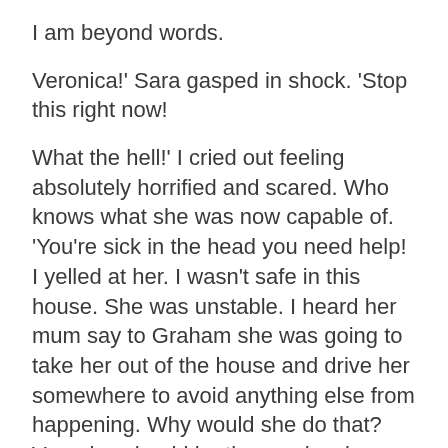I am beyond words.
Veronica!' Sara gasped in shock. 'Stop this right now!
What the hell!' I cried out feeling absolutely horrified and scared. Who knows what she was now capable of. 'You're sick in the head you need help! I yelled at her. I wasn't safe in this house. She was unstable. I heard her mum say to Graham she was going to take her out of the house and drive her somewhere to avoid anything else from happening. Why would she do that? Veronica should be the one leaving that house. It's utter madness.
I ran upstairs, shut the bedroom door and bawled my eyes out. There was more to come. It hadn't finished there.